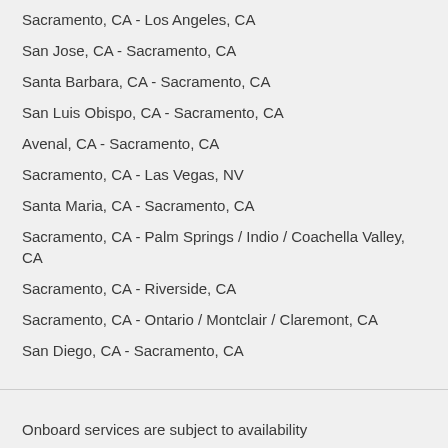Sacramento, CA - Los Angeles, CA
San Jose, CA - Sacramento, CA
Santa Barbara, CA - Sacramento, CA
San Luis Obispo, CA - Sacramento, CA
Avenal, CA - Sacramento, CA
Sacramento, CA - Las Vegas, NV
Santa Maria, CA - Sacramento, CA
Sacramento, CA - Palm Springs / Indio / Coachella Valley, CA
Sacramento, CA - Riverside, CA
Sacramento, CA - Ontario / Montclair / Claremont, CA
San Diego, CA - Sacramento, CA
Onboard services are subject to availability